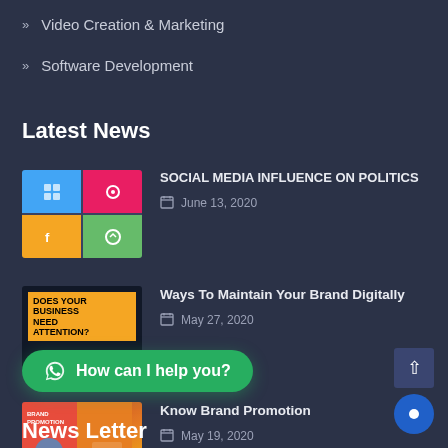» Video Creation & Marketing
» Software Development
Latest News
[Figure (photo): Social media icons collage thumbnail]
SOCIAL MEDIA INFLUENCE ON POLITICS
June 13, 2020
[Figure (photo): Does Your Business Need Attention? yellow and dark promotional image]
Ways To Maintain Your Brand Digitally
May 27, 2020
[Figure (photo): Brand Promotion orange/red promotional image with person]
Know Brand Promotion
May 19, 2020
How can I help you?
News Letter